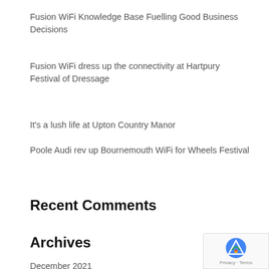Fusion WiFi Knowledge Base Fuelling Good Business Decisions
Fusion WiFi dress up the connectivity at Hartpury Festival of Dressage
It’s a lush life at Upton Country Manor
Poole Audi rev up Bournemouth WiFi for Wheels Festival
Recent Comments
Archives
December 2021
November 2016
July 2016